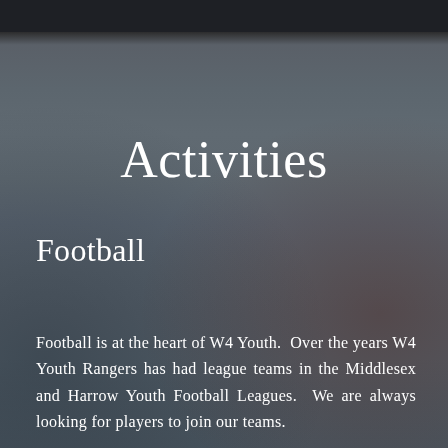Activities
Football
Football is at the heart of W4 Youth.  Over the years W4 Youth Rangers has had league teams in the Middlesex and Harrow Youth Football Leagues.  We are always looking for players to join our teams.